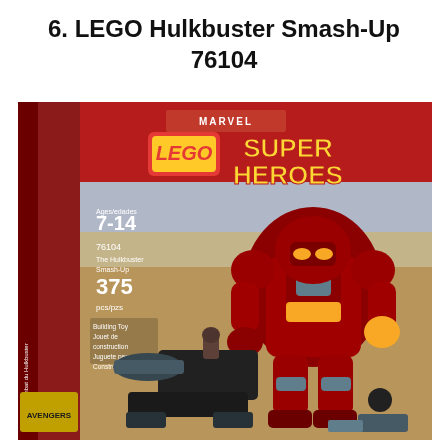6. LEGO Hulkbuster Smash-Up 76104
[Figure (photo): Photo of LEGO Marvel Super Heroes Hulkbuster Smash-Up set #76104 box, showing the large red Hulkbuster armored robot figure with gold accents, a smaller villain figure with a weapon, and the LEGO/Marvel Super Heroes branding. Box shows Ages 7-14, 375 pcs/pzs.]